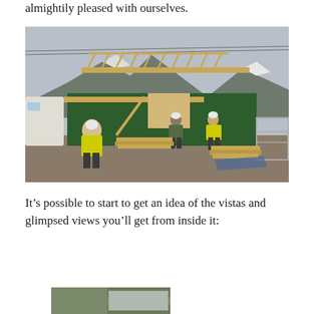almightily pleased with ourselves.
[Figure (photo): Construction site photo showing a building under construction with wooden roof trusses. Workers in high-visibility yellow vests and hard hats are visible in the foreground and background. The building has green hoarding panels. Snow-capped mountains are visible in the background under a grey sky.]
It’s possible to start to get an idea of the vistas and glimpsed views you’ll get from inside it:
[Figure (photo): Partial view of another construction site or outdoor scene, cropped at bottom of page.]